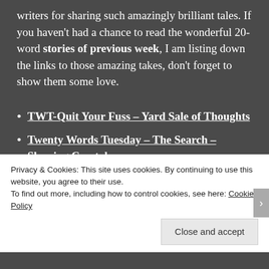writers for sharing such amazingly brilliant tales. If you haven't had a chance to read the wonderful 20-word stories of previous week, I am listing down the links to those amazing takes, don't forget to show them some love.
TWT-Quit Your Fuss – Yard Sale of Thoughts
Twenty Words Tuesday – The Search – Sleeping Crystals
Twenty Words Tuesday: Week 38 Prompt |
Privacy & Cookies: This site uses cookies. By continuing to use this website, you agree to their use.
To find out more, including how to control cookies, see here: Cookie Policy